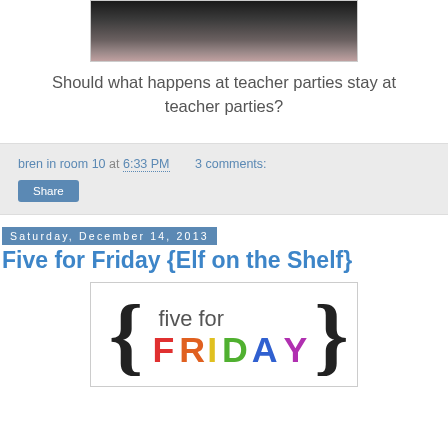[Figure (photo): Cropped photo showing top of a person's head with dark hair against dark background]
Should what happens at teacher parties stay at teacher parties?
bren in room 10 at 6:33 PM   3 comments:
Share
Saturday, December 14, 2013
Five for Friday {Elf on the Shelf}
[Figure (logo): Five for Friday logo with colorful text: 'five for FRIDAY' with curly braces]